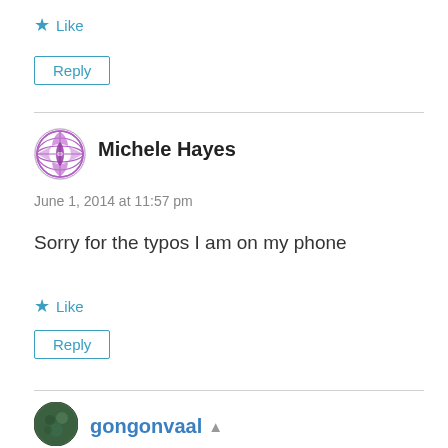★ Like
Reply
[Figure (illustration): Purple mosaic/globe avatar for Michele Hayes]
Michele Hayes
June 1, 2014 at 11:57 pm
Sorry for the typos I am on my phone
★ Like
Reply
[Figure (photo): Small circular green/dark avatar for gongonvaal]
gongonvaal ▲